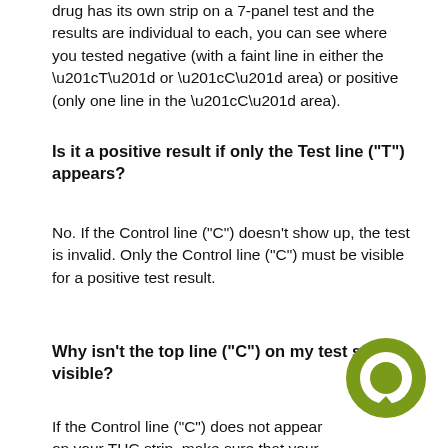drug has its own strip on a 7-panel test and the results are individual to each, you can see where you tested negative (with a faint line in either the “T” or “C” area) or positive (only one line in the “C” area).
Is it a positive result if only the Test line ("T") appears?
No. If the Control line ("C") doesn't show up, the test is invalid. Only the Control line ("C") must be visible for a positive test result.
Why isn't the top line ("C") on my test strip visible?
If the Control line ("C") does not appear on your THC strip, make sure that your test isn't expired, the temperature of the substance does not too cold or too hot. The substance that...
[Figure (logo): Green circular chat bubble icon in the bottom right corner]